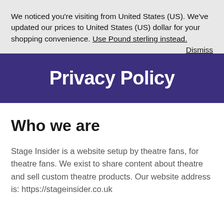We noticed you're visiting from United States (US). We've updated our prices to United States (US) dollar for your shopping convenience. Use Pound sterling instead. Dismiss
Privacy Policy
Who we are
Stage Insider is a website setup by theatre fans, for theatre fans. We exist to share content about theatre and sell custom theatre products. Our website address is: https://stageinsider.co.uk